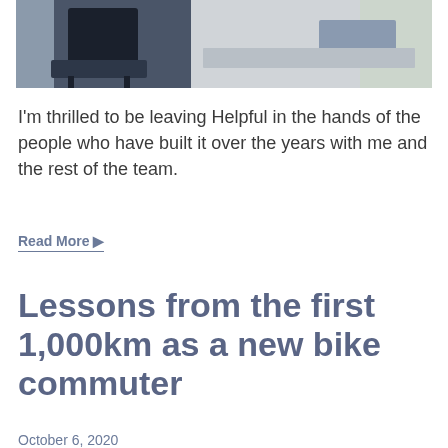[Figure (photo): Office desk scene with a black chair on the left side and a desk with monitor/computer setup on the right side, near a window with natural light]
I'm thrilled to be leaving Helpful in the hands of the people who have built it over the years with me and the rest of the team.
Read More ▶
Lessons from the first 1,000km as a new bike commuter
October 6, 2020